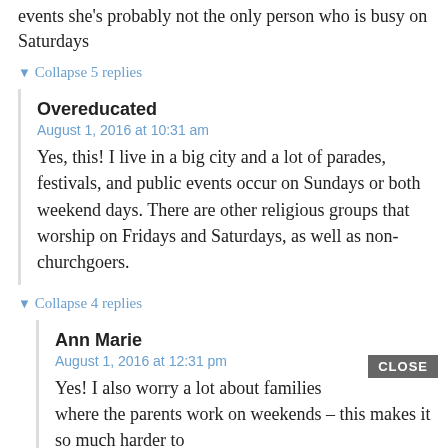events she's probably not the only person who is busy on Saturdays
▼ Collapse 5 replies
Overeducated
August 1, 2016 at 10:31 am
Yes, this! I live in a big city and a lot of parades, festivals, and public events occur on Sundays or both weekend days. There are other religious groups that worship on Fridays and Saturdays, as well as non-churchgoers.
▼ Collapse 4 replies
Ann Marie
August 1, 2016 at 12:31 pm
Yes! I also worry a lot about families where the parents work on weekends – this makes it so much harder to